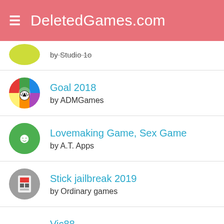DeletedGames.com
by Studio 1o
Goal 2018
by ADMGames
Lovemaking Game, Sex Game
by A.T. Apps
Stick jailbreak 2019
by Ordinary games
Vic88
by kdosakdoa
Cooking Stand Restaurant G...